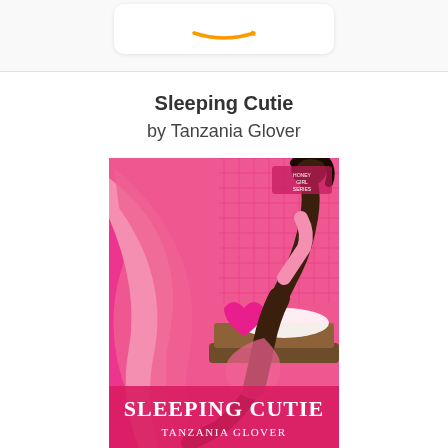[Figure (logo): Amazon logo partially visible at top of page inside a white rounded rectangle card on a light gray background]
Sleeping Cutie
by Tanzania Glover
[Figure (illustration): Book cover for 'Sleeping Cutie' by Tanzania Glover. Illustration shows a dark-skinned woman in a pink dress lying/reclining on a bed with pink satin sheets. The background is pink with a decorative pattern. At the bottom, the title 'SLEEPING CUTIE' is displayed in large white serif letters, with 'TANZANIA GLOVER' below it in smaller white letters.]